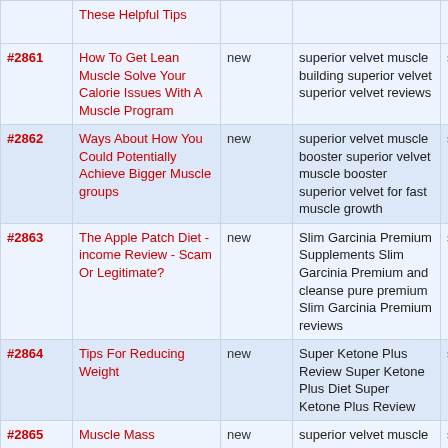| # | Title | Status | Keywords |  |
| --- | --- | --- | --- | --- |
| (partial) | These Helpful Tips |  |  |  |
| #2861 | How To Get Lean Muscle Solve Your Calorie Issues With A Muscle Program | new | superior velvet muscle building superior velvet superior velvet reviews | s |
| #2862 | Ways About How You Could Potentially Achieve Bigger Muscle groups | new | superior velvet muscle booster superior velvet muscle booster superior velvet for fast muscle growth | s |
| #2863 | The Apple Patch Diet - income Review - Scam Or Legitimate? | new | Slim Garcinia Premium Supplements Slim Garcinia Premium and cleanse pure premium Slim Garcinia Premium reviews | s |
| #2864 | Tips For Reducing Weight | new | Super Ketone Plus Review Super Ketone Plus Diet Super Ketone Plus Review | s |
| #2865 | Muscle Mass Advantage When You Are Quickly | new | superior velvet muscle booster superior velvet muscle booster superior velvet muscle building | s |